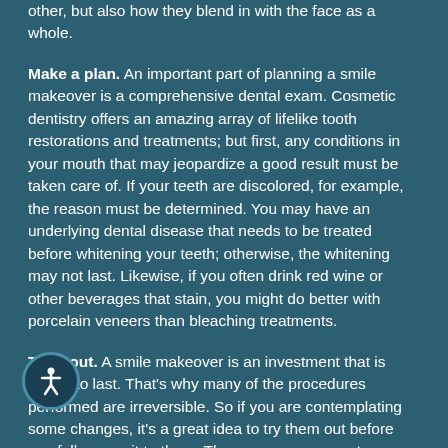other, but also how they blend in with the face as a whole.
Make a plan. An important part of planning a smile makeover is a comprehensive dental exam. Cosmetic dentistry offers an amazing array of lifelike tooth restorations and treatments; but first, any conditions in your mouth that may jeopardize a good result must be taken care of. If your teeth are discolored, for example, the reason must be determined. You may have an underlying dental disease that needs to be treated before whitening your teeth; otherwise, the whitening may not last. Likewise, if you often drink red wine or other beverages that stain, you might do better with porcelain veneers than bleaching treatments.
Try it out. A smile makeover is an investment that is meant to last. That's why many of the procedures performed are irreversible. So if you are contemplating some changes, it's a great idea to try them out before you fully commit to them. There are many ways to preview the results: computer imaging, 3D models, and even placing temporary restorations on your teeth so you can see what the final results will look and feel like in your own mouth. This also allows a fine-tuning of the makeover